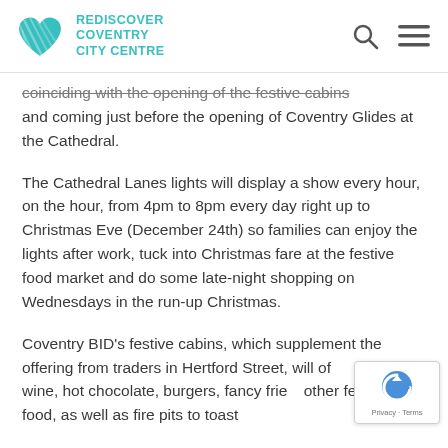REDISCOVER COVENTRY CITY CENTRE
coinciding with the opening of the festive cabins and coming just before the opening of Coventry Glides at the Cathedral.
The Cathedral Lanes lights will display a show every hour, on the hour, from 4pm to 8pm every day right up to Christmas Eve (December 24th) so families can enjoy the lights after work, tuck into Christmas fare at the festive food market and do some late-night shopping on Wednesdays in the run-up Christmas.
Coventry BID’s festive cabins, which supplement the offering from traders in Hertford Street, will offer mulled wine, hot chocolate, burgers, fancy fries, other festive food, as well as fire pits to toast